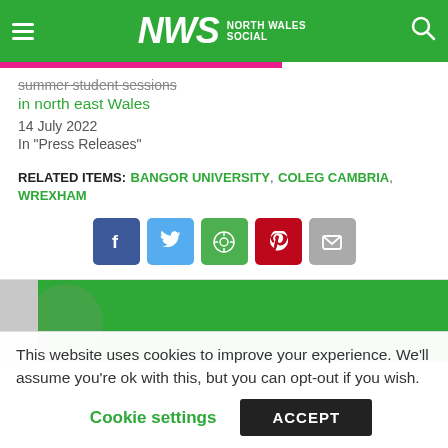NWS North Wales Social
summer student sessions in north east Wales
14 July 2022
In "Press Releases"
RELATED ITEMS: BANGOR UNIVERSITY, COLEG CAMBRIA, WREXHAM
[Figure (infographic): Social share buttons: Facebook, Twitter, WhatsApp, Pinterest, Email]
[Figure (infographic): Green advertisement or image block with circular design element]
This website uses cookies to improve your experience. We'll assume you're ok with this, but you can opt-out if you wish.
Cookie settings   ACCEPT